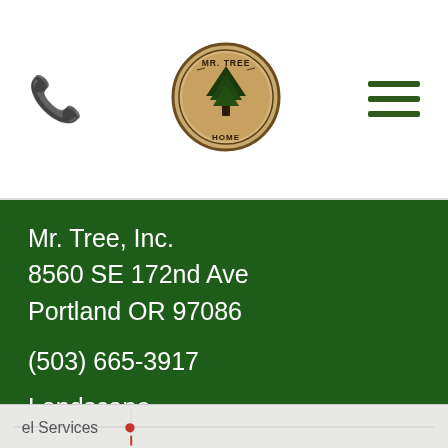[Figure (logo): Mr. Tree Home logo — circular badge with a tree illustration and text 'MR. TREE HOME' on tan/brown background]
Mr. Tree, Inc.
8560 SE 172nd Ave
Portland OR 97086

(503) 665-3917

Landscape

(503) 665-7343

4.5 stars - based on 68 reviews
[Figure (map): Partial map view with location pin and partial text 'el Services']